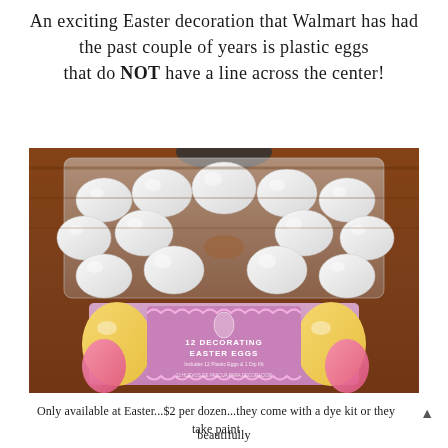An exciting Easter decoration that Walmart has had the past couple of years is plastic eggs that do NOT have a line across the center!
[Figure (photo): Photo showing a carton of white plastic Easter eggs (no seam line) displayed on top of the packaging box labeled '12 Decorating Easter Eggs' with a pink and yellow Easter design, on a wooden surface.]
Only available at Easter...$2 per dozen...they come with a dye kit or they take paint beautifully